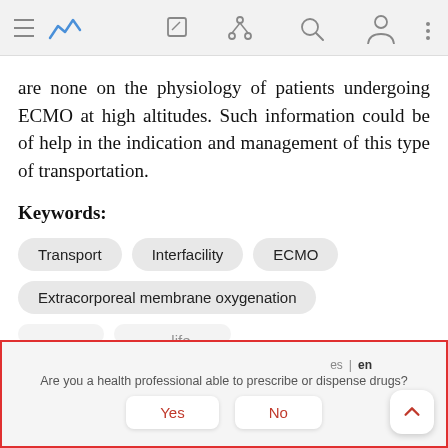[Figure (screenshot): Mobile app navigation bar with hamburger menu icon, logo icon in blue, edit icon, share icon, search icon, profile icon, and more options icon]
are none on the physiology of patients undergoing ECMO at high altitudes. Such information could be of help in the indication and management of this type of transportation.
Keywords:
Transport
Interfacility
ECMO
Extracorporeal membrane oxygenation
[Figure (screenshot): Modal dialog with red border asking 'Are you a health professional able to prescribe or dispense drugs?' with Yes and No buttons in red, language toggle showing es and en, and a scroll-to-top button]